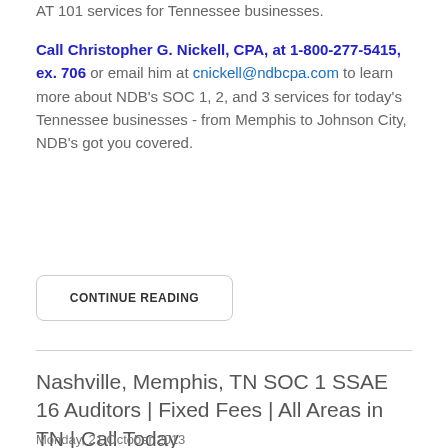AT 101 services for Tennessee businesses.
Call Christopher G. Nickell, CPA, at 1-800-277-5415, ex. 706 or email him at cnickell@ndbcpa.com to learn more about NDB's SOC 1, 2, and 3 services for today's Tennessee businesses - from Memphis to Johnson City, NDB's got you covered.
CONTINUE READING
Nashville, Memphis, TN SOC 1 SSAE 16 Auditors | Fixed Fees | All Areas in TN | Call Today
Monday, 21 October 2013
Regulatory Compliance